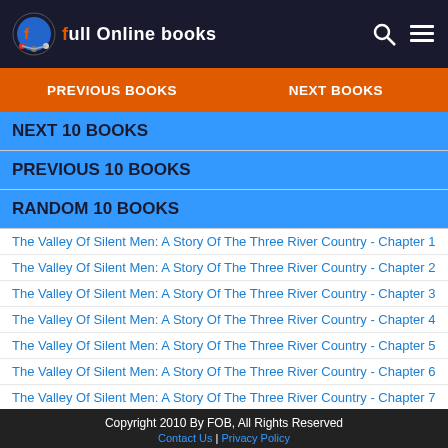Full Online Books
PREVIOUS BOOKS | NEXT BOOKS
NEXT 10 BOOKS
PREVIOUS 10 BOOKS
RANDOM 10 BOOKS
The Valley Of Silent Men: A Story Of The Three River Country - Chapter 1
The Valley Of Silent Men: A Story Of The Three River Country - Chapter 2
The Valley Of Silent Men: A Story Of The Three River Country - Chapter 3
The Valley Of Silent Men: A Story Of The Three River Country - Chapter 4
The Valley Of Silent Men: A Story Of The Three River Country - Chapter 5
The Valley Of Silent Men: A Story Of The Three River Country - Chapter 6
The Valley Of Silent Men: A Story Of The Three River Country - Chapter 7
The Valley Of Silent Men: A Story Of The Three River Country - Chapter 8
The Valley Of Silent Men: A Story Of The Three River Country - Chapter 9
The Valley Of Silent Men: A Story Of The Three River Country - Chapter 10
Copyright 2010 By FOB, All Rights Reserved
Contact Us | Privacy Policy